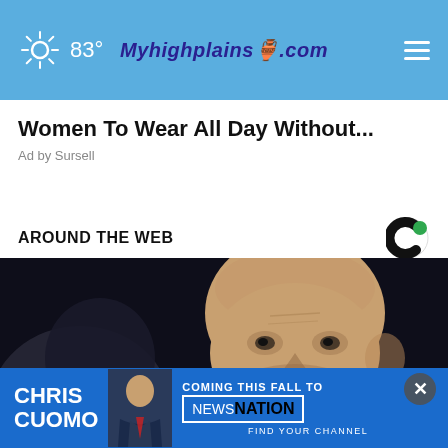Myhighplains.com  83°
Women To Wear All Day Without...
Ad by Sursell
AROUND THE WEB
[Figure (photo): Close-up photo of a bald middle-aged man with a serious expression against a dark background]
[Figure (photo): Chris Cuomo advertisement banner: CHRIS CUOMO - COMING THIS FALL TO [NEWSNATION] - FIND YOUR CHANNEL]